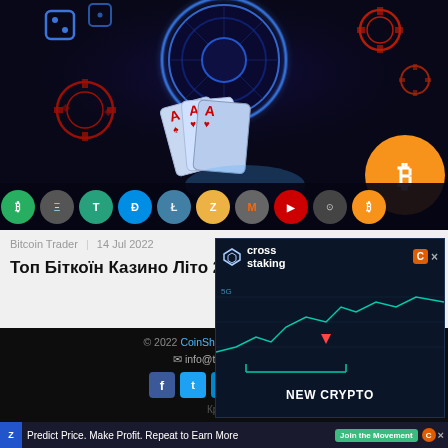[Figure (photo): Casino scene with roulette wheel, playing cards (Aces), neon-lit gaming chips, and cryptocurrency coin icons (BTC, ETH, TETHER, DASH, LTC, ZEC, XMR, TRX, XDC, BTC) along the bottom]
Bitcoin Trader   14 Jul 2022
Топ Біткоїн Казино Літо 2022
© 2022 CoinShark Media. Всі пр...   info@thecoinshar...   [social icons]   Крипт...
[Figure (screenshot): Cross Staking advertisement overlay with logo, chart area showing crypto price movement, and NEW CRYPTO text]
[Figure (screenshot): Bottom banner ad: Predict Price. Make Profit. Repeat to Earn More — Join the Movement button]